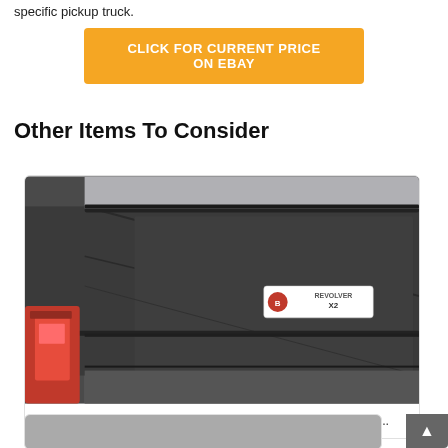specific pickup truck.
CLICK FOR CURRENT PRICE ON EBAY
Other Items To Consider
[Figure (photo): Close-up photo of a Bak Revolver X2 hard rolling truck bed cover, showing dark textured surface with a BAK Revolver X2 logo sticker, red truck taillights visible on the left side.]
Bak 39524 Revolver X2 Hard Rolling Truck Bed Cover Fits...